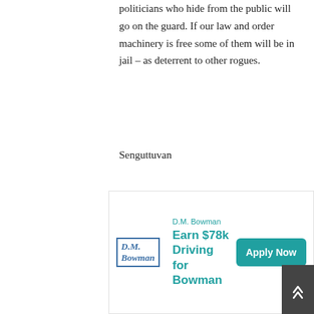politicians who hide from the public will go on the guard. If our law and order machinery is free some of them will be in jail – as deterrent to other rogues.
Senguttuvan
[Figure (illustration): Green and white geometric snowflake/pattern avatar icon]
Wuliangguobinjiu / November 26, 2012
[Figure (infographic): Green thumbs-up button showing 0 votes and red thumbs-down button showing 0 votes]
Cooooooool, getath usai OH! One sets a thief to catch a thief :)
[Figure (screenshot): D.M. Bowman advertisement: Earn $78k Driving for Bowman with Apply Now button]